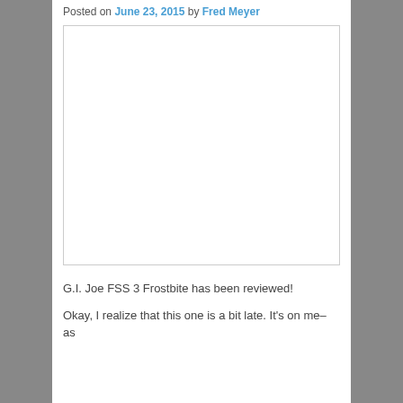Posted on June 23, 2015 by Fred Meyer
[Figure (photo): Empty white image placeholder box with a thin border]
G.I. Joe FSS 3 Frostbite has been reviewed!
Okay, I realize that this one is a bit late. It's on me– as